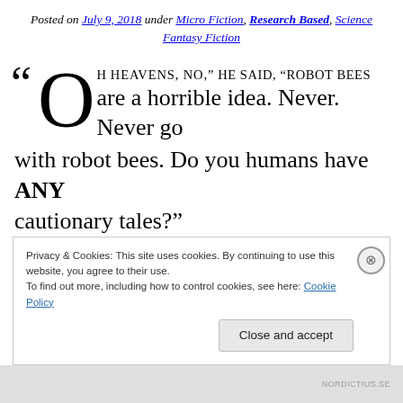Posted on July 9, 2018 under Micro Fiction, Research Based, Science Fantasy Fiction
“Oh heavens, no,” he said, “Robot bees are a horrible idea. Never. Never go with robot bees. Do you humans have ANY cautionary tales?”
Researchers in Alabama are working with a team in
Privacy & Cookies: This site uses cookies. By continuing to use this website, you agree to their use. To find out more, including how to control cookies, see here: Cookie Policy
Close and accept